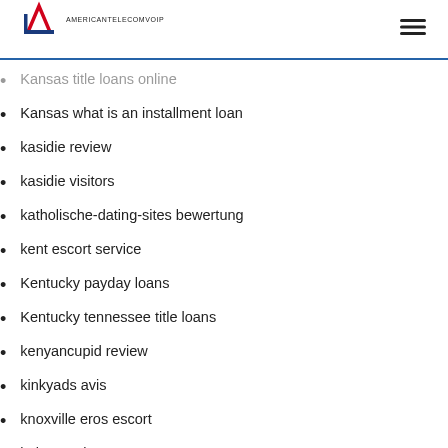AMERICANTELECOMVOIP
Kansas title loans online
Kansas what is an installment loan
kasidie review
kasidie visitors
katholische-dating-sites bewertung
kent escort service
Kentucky payday loans
Kentucky tennessee title loans
kenyancupid review
kinkyads avis
knoxville eros escort
koko app kosten